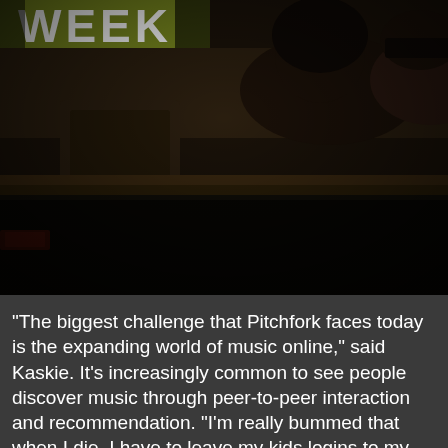[Figure (photo): Dark, blurry photograph of people at what appears to be a conference or event. A sign in the upper left corner shows the word 'WEEK' in bold letters on a green/yellow background. Silhouettes of people and equipment are visible in dim lighting.]
“The biggest challenge that Pitchfork faces today is the expanding world of music online,” said Kaskie. It’s increasingly common to see people discover music through peer-to-peer interaction and recommendation. “I’m really bummed that when I die, I have to leave my kids logins to my Cloud account and